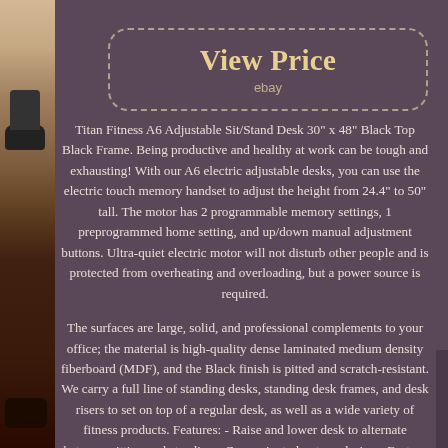[Figure (screenshot): eBay 'View Price' button with dashed rounded border]
Titan Fitness A6 Adjustable Sit/Stand Desk 30" x 48" Black Top Black Frame. Being productive and healthy at work can be tough and exhausting! With our A6 electric adjustable desks, you can use the electric touch memory handset to adjust the height from 24.4" to 50" tall. The motor has 2 programmable memory settings, 1 preprogrammed home setting, and up/down manual adjustment buttons. Ultra-quiet electric motor will not disturb other people and is protected from overheating and overloading, but a power source is required.

The surfaces are large, solid, and professional complements to your office; the material is high-quality dense laminated medium density fiberboard (MDF), and the Black finish is pitted and scratch-resistant. We carry a full line of standing desks, standing desk frames, and desk risers to set on top of a regular desk, as well as a wide variety of fitness products. Features: - Raise and lower desk to alternate between sitting and standing - Convenient plug type design - Feet on the bottom keep the desk frame in place - Motor metal case has ultra-thin design - Easy to assemble - High quality construction with